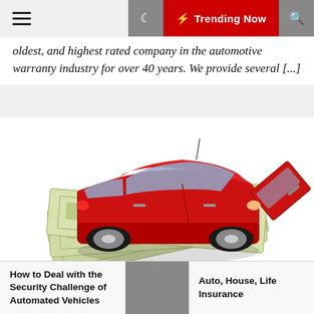☰  🌙  ⚡ Trending Now  🔍
oldest, and highest rated company in the automotive warranty industry for over 40 years. We provide several [...]
[Figure (photo): A red toy/model car with an open door sitting on top of US dollar bills, on a white background.]
How to Deal with the Security Challenge of Automated Vehicles
Auto, House, Life Insurance